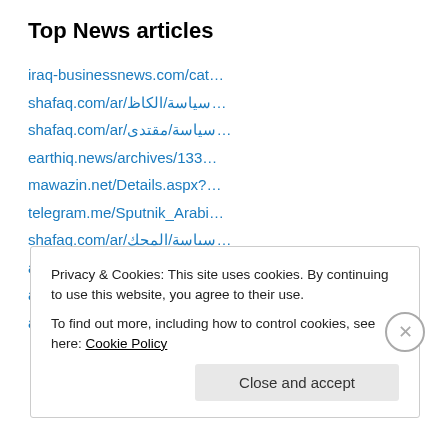Top News articles
iraq-businessnews.com/cat…
shafaq.com/ar/سياسة/الكاظ…
shafaq.com/ar/سياسة/مقتدى…
earthiq.news/archives/133…
mawazin.net/Details.aspx?…
telegram.me/Sputnik_Arabi…
shafaq.com/ar/سياسة/المحك…
almasalah.com/archives/13…
almasalah.com/archives/13…
alforatnews.iq/news/بالوث…
Privacy & Cookies: This site uses cookies. By continuing to use this website, you agree to their use.
To find out more, including how to control cookies, see here: Cookie Policy